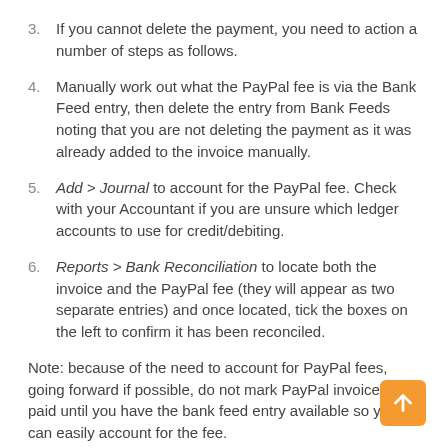3. If you cannot delete the payment, you need to action a number of steps as follows.
4. Manually work out what the PayPal fee is via the Bank Feed entry, then delete the entry from Bank Feeds noting that you are not deleting the payment as it was already added to the invoice manually.
5. Add > Journal to account for the PayPal fee. Check with your Accountant if you are unsure which ledger accounts to use for credit/debiting.
6. Reports > Bank Reconciliation to locate both the invoice and the PayPal fee (they will appear as two separate entries) and once located, tick the boxes on the left to confirm it has been reconciled.
Note: because of the need to account for PayPal fees, going forward if possible, do not mark PayPal invoices as paid until you have the bank feed entry available so you can easily account for the fee.